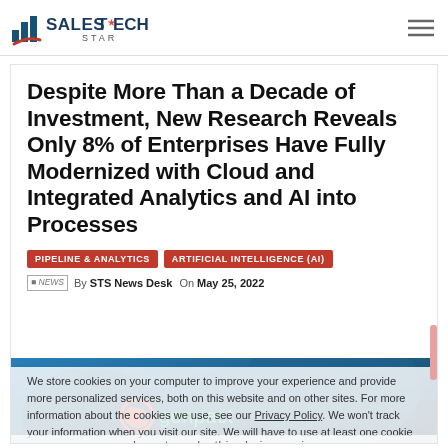SalesTechStar
Despite More Than a Decade of Investment, New Research Reveals Only 8% of Enterprises Have Fully Modernized with Cloud and Integrated Analytics and AI into Processes
PIPELINE & ANALYTICS   ARTIFICIAL INTELLIGENCE (AI)
By STS News Desk — On May 25, 2022
We store cookies on your computer to improve your experience and provide more personalized services, both on this website and on other sites. For more information about the cookies we use, see our Privacy Policy. We won't track your information when you visit our site. We will have to use at least one cookie to ensure that you won't have to make this choice again.
[Figure (photo): Blue-toned photo with Genpact logo overlay]